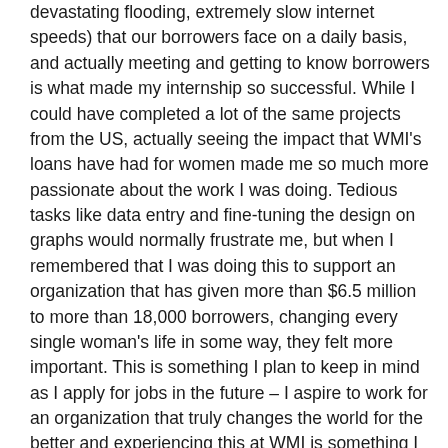devastating flooding, extremely slow internet speeds) that our borrowers face on a daily basis, and actually meeting and getting to know borrowers is what made my internship so successful. While I could have completed a lot of the same projects from the US, actually seeing the impact that WMI's loans have had for women made me so much more passionate about the work I was doing. Tedious tasks like data entry and fine-tuning the design on graphs would normally frustrate me, but when I remembered that I was doing this to support an organization that has given more than $6.5 million to more than 18,000 borrowers, changing every single woman's life in some way, they felt more important. This is something I plan to keep in mind as I apply for jobs in the future – I aspire to work for an organization that truly changes the world for the better and experiencing this at WMI is something I will never forget.
Beyond the projects I worked on, I had the opportunity to learn about the many facets of WMI's operations. I am also interested in doing pro bono technology consulting for nonprofits in the future,